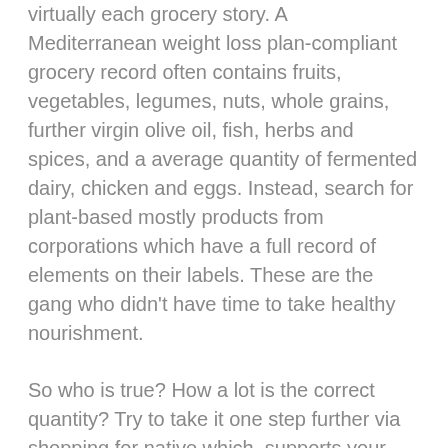virtually each grocery story. A Mediterranean weight loss plan-compliant grocery record often contains fruits, vegetables, legumes, nuts, whole grains, further virgin olive oil, fish, herbs and spices, and a average quantity of fermented dairy, chicken and eggs. Instead, search for plant-based mostly products from corporations which have a full record of elements on their labels. These are the gang who didn't have time to take healthy nourishment.
So who is true? How a lot is the correct quantity? Try to take it one step further via shopping for native which, supports your native economy and reduces greenhouse fuel emissions utilized in getting food from its original location to your plate. Pesticides used in China can affect the health of individuals within the U.S., greenhouse gas emissions from Argentina can have an effect on the climate in before to Brazil...